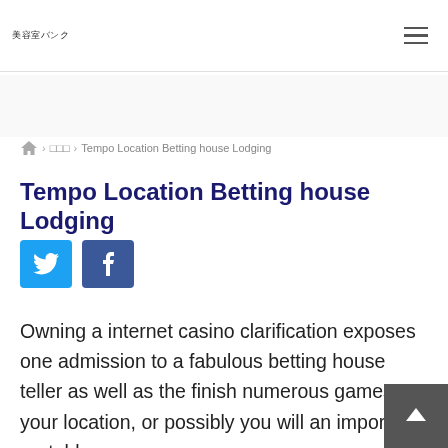美容室バンク
☰
🏠 › □□□ › Tempo Location Betting house Lodging
Tempo Location Betting house Lodging
[Figure (other): Twitter and Facebook social share buttons]
Owning a internet casino clarification exposes one admission to a fabulous betting house teller as well as the finish numerous games your location, or possibly you will an important portable